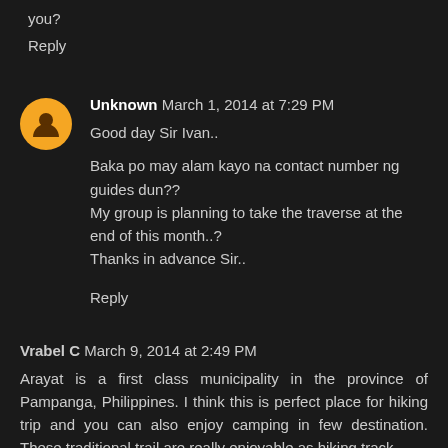you?
Reply
Unknown March 1, 2014 at 7:29 PM
Good day Sir Ivan..

Baka po may alam kayo na contact number ng guides dun??
My group is planning to take the traverse at the end of this month..?
Thanks in advance Sir..
Reply
Vrabel C March 9, 2014 at 2:49 PM
Arayat is a first class municipality in the province of Pampanga, Philippines. I think this is perfect place for hiking trip and you can also enjoy camping in few destination. These traditional trail are really enjoyable as hiking track.